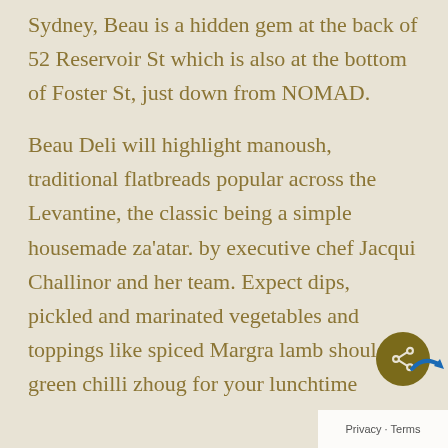Sydney, Beau is a hidden gem at the back of 52 Reservoir St which is also at the bottom of Foster St, just down from NOMAD.
Beau Deli will highlight manoush, traditional flatbreads popular across the Levantine, the classic being a simple housemade za'atar. by executive chef Jacqui Challinor and her team. Expect dips, pickled and marinated vegetables and toppings like spiced Margra lamb shoulder, green chilli zhoug for your lunchtime